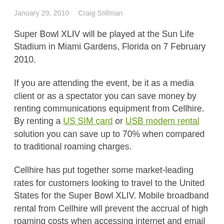January 29, 2010   Craig Stillman
Super Bowl XLIV will be played at the Sun Life Stadium in Miami Gardens, Florida on 7 February 2010.
If you are attending the event, be it as a media client or as a spectator you can save money by renting communications equipment from Cellhire. By renting a US SIM card or USB modem rental solution you can save up to 70% when compared to traditional roaming charges.
Cellhire has put together some market-leading rates for customers looking to travel to the United States for the Super Bowl XLIV. Mobile broadband rental from Cellhire will prevent the accrual of high roaming costs when accessing internet and email...